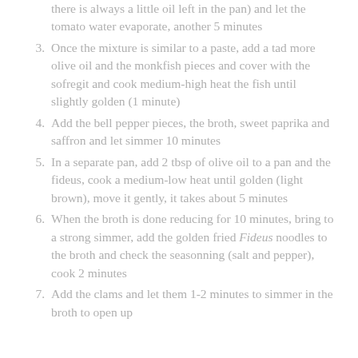(there is always a little oil left in the pan) and let the tomato water evaporate, another 5 minutes
3. Once the mixture is similar to a paste, add a tad more olive oil and the monkfish pieces and cover with the sofregit and cook medium-high heat the fish until slightly golden (1 minute)
4. Add the bell pepper pieces, the broth, sweet paprika and saffron and let simmer 10 minutes
5. In a separate pan, add 2 tbsp of olive oil to a pan and the fideus, cook a medium-low heat until golden (light brown), move it gently, it takes about 5 minutes
6. When the broth is done reducing for 10 minutes, bring to a strong simmer, add the golden fried Fideus noodles to the broth and check the seasonning (salt and pepper), cook 2 minutes
7. Add the clams and let them 1-2 minutes to simmer in the broth to open up